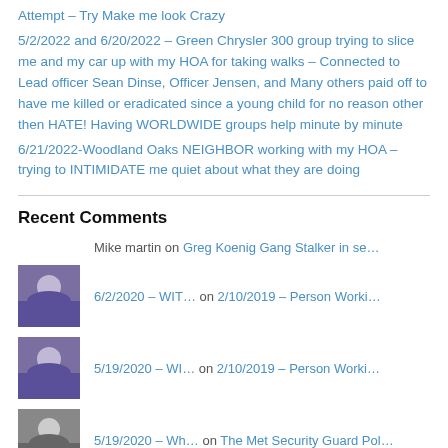Attempt – Try Make me look Crazy
5/2/2022 and 6/20/2022 – Green Chrysler 300 group trying to slice me and my car up with my HOA for taking walks – Connected to Lead officer Sean Dinse, Officer Jensen, and Many others paid off to have me killed or eradicated since a young child for no reason other then HATE! Having WORLDWIDE groups help minute by minute
6/21/2022-Woodland Oaks NEIGHBOR working with my HOA – trying to INTIMIDATE me quiet about what they are doing
Recent Comments
Mike martin on Greg Koenig Gang Stalker in se…
6/2/2020 – WIT… on 2/10/2019 – Person Worki…
5/19/2020 – WI… on 2/10/2019 – Person Worki…
5/19/2020 – Wh… on The Met Security Guard Pol…